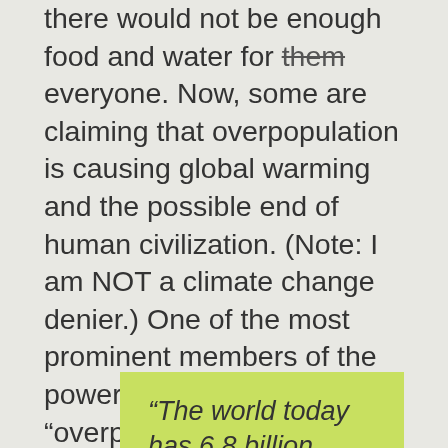there would not be enough food and water for them everyone. Now, some are claiming that overpopulation is causing global warming and the possible end of human civilization. (Note: I am NOT a climate change denier.) One of the most prominent members of the power elite making these "overpopulation=global warming" claims is none other than Microsoft founder and billionaire Bill Gates.
Seven years ago, Bill Gates gave a Ted Talk during which he made the following statement:
“The world today has 6.8 billion people…